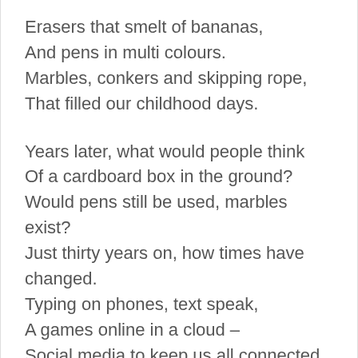Erasers that smelt of bananas,
And pens in multi colours.
Marbles, conkers and skipping rope,
That filled our childhood days.
Years later, what would people think
Of a cardboard box in the ground?
Would pens still be used, marbles exist?
Just thirty years on, how times have changed.
Typing on phones, text speak,
A games online in a cloud –
Social media to keep us all connected.
But Lego has grown and grown,